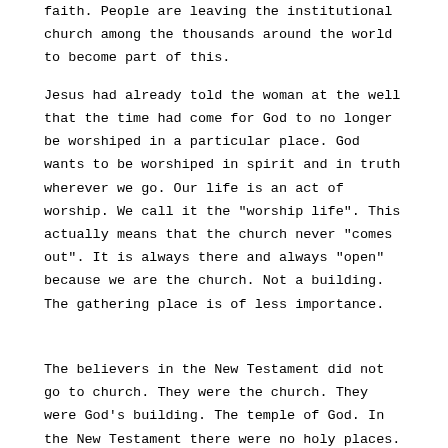faith. People are leaving the institutional church among the thousands around the world to become part of this.
Jesus had already told the woman at the well that the time had come for God to no longer be worshiped in a particular place. God wants to be worshiped in spirit and in truth wherever we go. Our life is an act of worship. We call it the "worship life". This actually means that the church never "comes out". It is always there and always "open" because we are the church. Not a building. The gathering place is of less importance.
The believers in the New Testament did not go to church. They were the church. They were God's building. The temple of God. In the New Testament there were no holy places. On the contrary, Christianity is the first and only